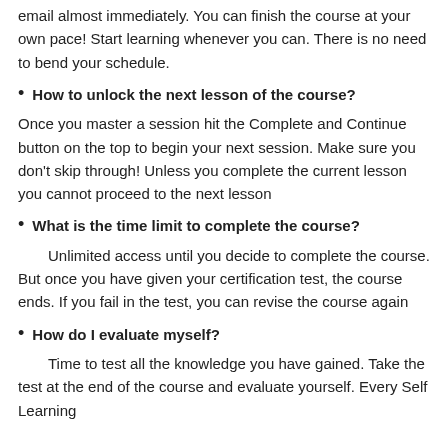email almost immediately. You can finish the course at your own pace! Start learning whenever you can. There is no need to bend your schedule.
How to unlock the next lesson of the course?
Once you master a session hit the Complete and Continue button on the top to begin your next session. Make sure you don't skip through! Unless you complete the current lesson you cannot proceed to the next lesson
What is the time limit to complete the course?
Unlimited access until you decide to complete the course. But once you have given your certification test, the course ends. If you fail in the test, you can revise the course again
How do I evaluate myself?
Time to test all the knowledge you have gained. Take the test at the end of the course and evaluate yourself. Every Self Learning